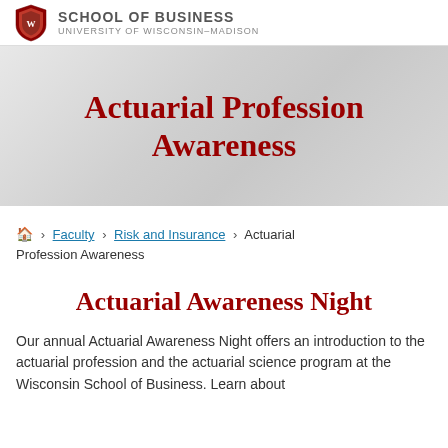SCHOOL OF BUSINESS — UNIVERSITY OF WISCONSIN–MADISON
Actuarial Profession Awareness
🏠 > Faculty > Risk and Insurance > Actuarial Profession Awareness
Actuarial Awareness Night
Our annual Actuarial Awareness Night offers an introduction to the actuarial profession and the actuarial science program at the Wisconsin School of Business. Learn about